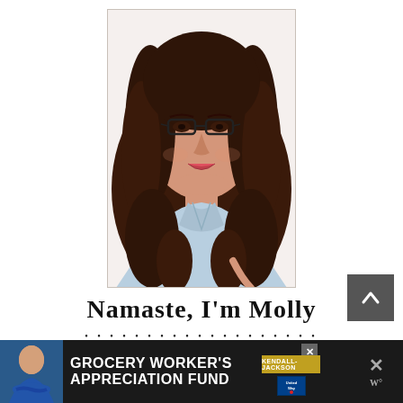[Figure (photo): Portrait photo of a woman with curly dark hair, glasses, and red lipstick wearing a light blue shirt, smiling at camera]
Namaste, I'm Molly
I love Sunshine, Food, Wine & Dogs. You'll find Family Favorite Recipes from All Over the World, made Lighter, Easier &
[Figure (infographic): Advertisement banner: GROCERY WORKER'S APPRECIATION FUND with Kendall-Jackson and United Way logos, featuring a person in a blue shirt]